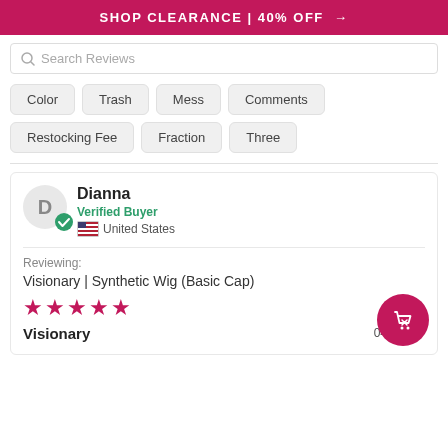SHOP CLEARANCE | 40% OFF →
Search Reviews
Color
Trash
Mess
Comments
Restocking Fee
Fraction
Three
Dianna
Verified Buyer
United States
Reviewing:
Visionary | Synthetic Wig (Basic Cap)
★★★★★
Visionary